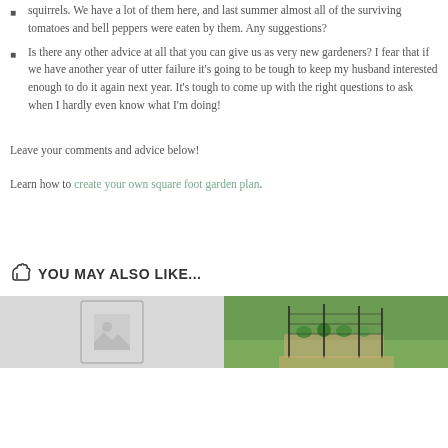squirrels. We have a lot of them here, and last summer almost all of the surviving tomatoes and bell peppers were eaten by them. Any suggestions?
Is there any other advice at all that you can give us as very new gardeners? I fear that if we have another year of utter failure it's going to be tough to keep my husband interested enough to do it again next year. It's tough to come up with the right questions to ask when I hardly even know what I'm doing!
Leave your comments and advice below!
Learn how to create your own square foot garden plan.
YOU MAY ALSO LIKE...
[Figure (photo): Two thumbnail images side by side: left is a light gray placeholder image, right shows an outdoor garden with green plants and black stakes/netting.]